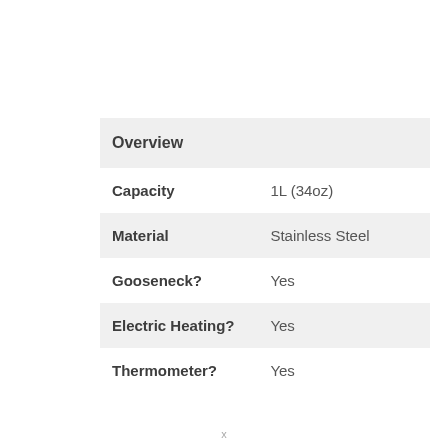|  |  |
| --- | --- |
| Overview |  |
| Capacity | 1L (34oz) |
| Material | Stainless Steel |
| Gooseneck? | Yes |
| Electric Heating? | Yes |
| Thermometer? | Yes |
x